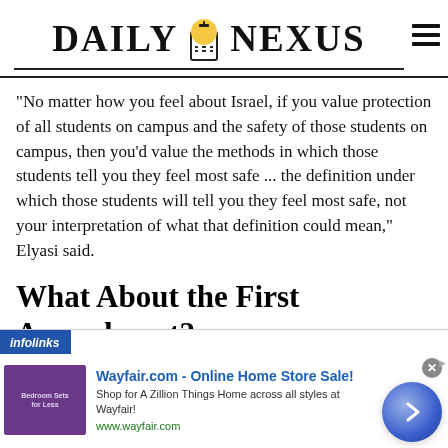DAILY NEXUS
“No matter how you feel about Israel, if you value protection of all students on campus and the safety of those students on campus, then you’d value the methods in which those students tell you they feel most safe ... the definition under which those students will tell you they feel most safe, not your interpretation of what that definition could mean,” Elyasi said.
What About the First Amendment?
[Figure (other): Wayfair.com advertisement banner with infolinks label, showing bedroom furniture image, ad title 'Wayfair.com - Online Home Store Sale!', description 'Shop for A Zillion Things Home across all styles at Wayfair!', URL www.wayfair.com, and a blue arrow button on the right.]